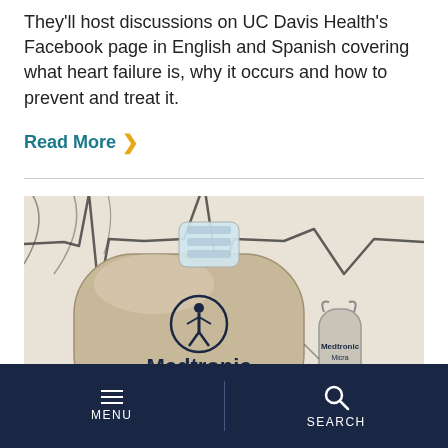They'll host discussions on UC Davis Health's Facebook page in English and Spanish covering what heart failure is, why it occurs and how to prevent and treat it.
Read More ›
[Figure (photo): Photo of two Medtronic pacemaker devices — a large traditional pacemaker with the Medtronic logo and a smaller Medtronic Micra device — placed on a surface with a drawn ECG/heartbeat line in the background.]
≡ MENU | 🔍 SEARCH